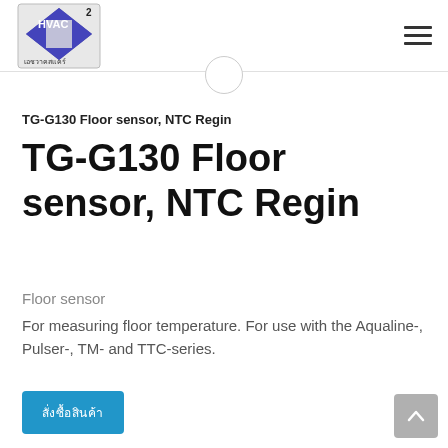HVAC² เอชวาคสแคร์ logo and navigation menu
TG-G130 Floor sensor, NTC Regin
TG-G130 Floor sensor, NTC Regin
Floor sensor
For measuring floor temperature. For use with the Aqualine-, Pulser-, TM- and TTC-series.